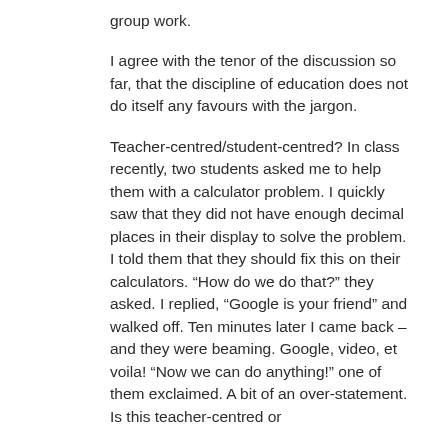group work.
I agree with the tenor of the discussion so far, that the discipline of education does not do itself any favours with the jargon.
Teacher-centred/student-centred? In class recently, two students asked me to help them with a calculator problem. I quickly saw that they did not have enough decimal places in their display to solve the problem. I told them that they should fix this on their calculators. “How do we do that?” they asked. I replied, “Google is your friend” and walked off. Ten minutes later I came back – and they were beaming. Google, video, et voila! “Now we can do anything!” one of them exclaimed. A bit of an over-statement. Is this teacher-centred or